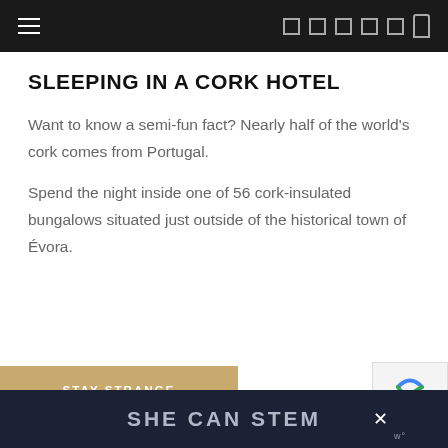≡  □ □ □ □ □  □
SLEEPING IN A CORK HOTEL
Want to know a semi-fun fact? Nearly half of the world's cork comes from Portugal.
Spend the night inside one of 56 cork-insulated bungalows situated just outside of the historical town of Évora.
STAY STRANGE
SHE CAN STEM